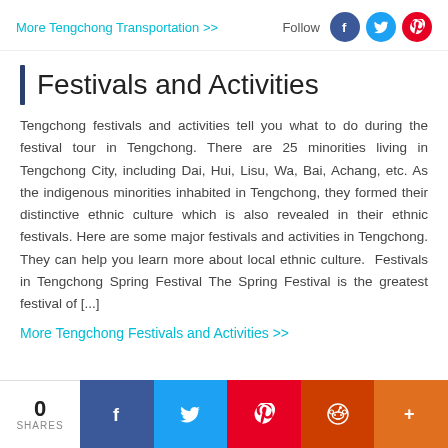More Tengchong Transportation >>
Festivals and Activities
Tengchong festivals and activities tell you what to do during the festival tour in Tengchong. There are 25 minorities living in Tengchong City, including Dai, Hui, Lisu, Wa, Bai, Achang, etc. As the indigenous minorities inhabited in Tengchong, they formed their distinctive ethnic culture which is also revealed in their ethnic festivals. Here are some major festivals and activities in Tengchong. They can help you learn more about local ethnic culture.  Festivals in Tengchong Spring Festival The Spring Festival is the greatest festival of [...]
More Tengchong Festivals and Activities >>
0 SHARES